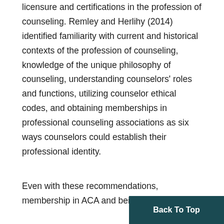licensure and certifications in the profession of counseling. Remley and Herlihy (2014) identified familiarity with current and historical contexts of the profession of counseling, knowledge of the unique philosophy of counseling, understanding counselors' roles and functions, utilizing counselor ethical codes, and obtaining memberships in professional counseling associations as six ways counselors could establish their professional identity.
Even with these recommendations, membership in ACA and being licens...